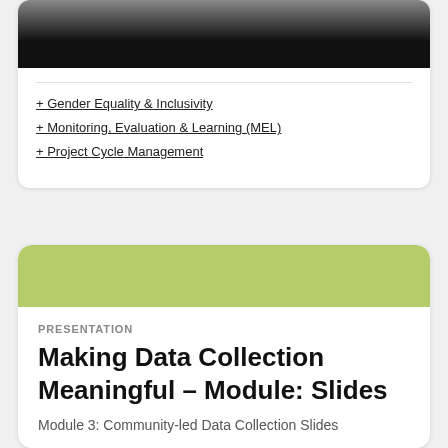[Figure (photo): Dark photograph partially visible at top of card, mostly black with slight gradient]
+ Gender Equality & Inclusivity
+ Monitoring, Evaluation & Learning (MEL)
+ Project Cycle Management
[Figure (illustration): Green rounded rectangle header banner for second card]
PRESENTATION
Making Data Collection Meaningful – Module: Slides
Module 3: Community-led Data Collection Slides